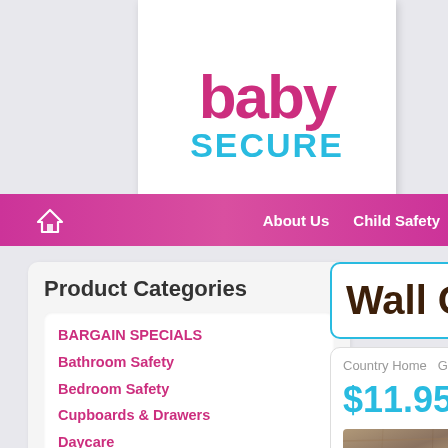[Figure (logo): Baby Secure logo with 'baby' in pink/magenta bold text and 'SECURE' in cyan bold text]
About Us   Child Safety
Product Categories
BARGAIN SPECIALS
Bathroom Safety
Bedroom Safety
Cupboards & Drawers
Daycare
Doorway Safety
Driveway Safety
Electrical Safety
Electronic Equipment
Fireplace
First Aid
Wall Gate
Country Home   Gates - Hole-F
$11.95
[Figure (photo): Close-up photo of wooden gate surface with natural wood grain texture]